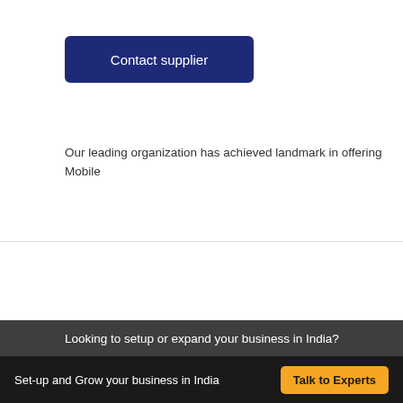[Figure (other): Contact supplier button - dark navy blue rounded rectangle button with white text]
Our leading organization has achieved landmark in offering Mobile
Wireless CCTV IP 2 No Camera Kit with NVR
[Figure (photo): Partial product image with teal/dark background showing camera kit]
Looking to setup or expand your business in India?
Set-up and Grow your business in India  Talk to Experts